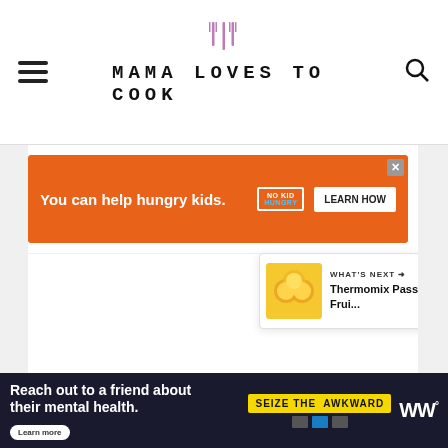MAMA LOVES TO COOK
[Figure (screenshot): Orange advertisement banner: 'You can help hungry kids.' with No Kid Hungry logo and LEARN HOW button]
[Figure (screenshot): White empty content area of food blog with social action buttons (heart, share) on the right side]
[Figure (screenshot): What's Next panel showing Thermomix Passion Frui... thumbnail]
[Figure (screenshot): Bottom dark advertisement: 'Reach out to a friend about their mental health.' with SEIZE THE AWKWARD banner and Learn more button]